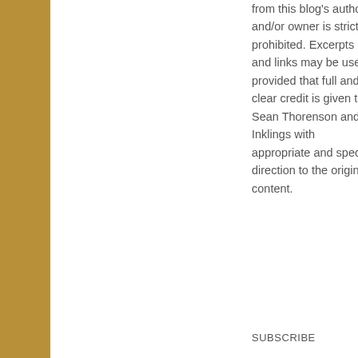from this blog's author and/or owner is strictly prohibited. Excerpts and links may be used, provided that full and clear credit is given to Sean Thorenson and Inklings with appropriate and specific direction to the original content.
SUBSCRIBE